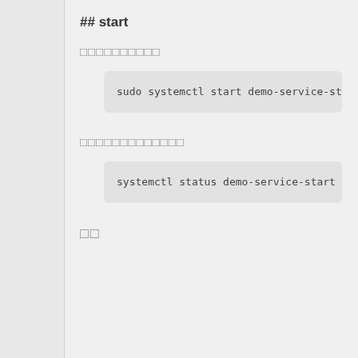## start
サービスの起動
sudo systemctl start demo-service-sta
サービスの起動確認
systemctl status demo-service-start
確認